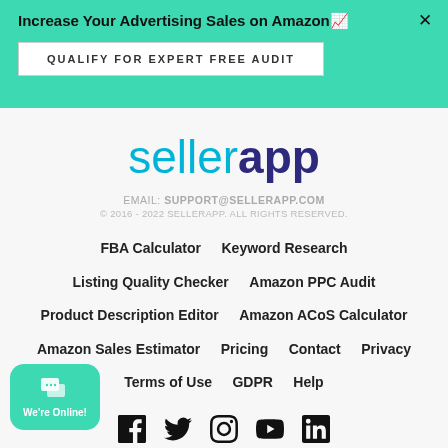Increase Your Advertising Sales on Amazon 📈
QUALIFY FOR EXPERT FREE AUDIT
[Figure (logo): SellerApp logo in teal and dark blue]
EMAIL: SUPPORT@SELLERAPP.COM
© 2016 - 2022 SELLERAPP. ALL RIGHTS RESERVED.
FBA Calculator
Keyword Research
Listing Quality Checker
Amazon PPC Audit
Product Description Editor
Amazon ACoS Calculator
Amazon Sales Estimator
Pricing
Contact
Privacy
Terms of Use
GDPR
Help
[Figure (other): Social media icons: Facebook, Twitter, Instagram, YouTube, LinkedIn]
We're Online!